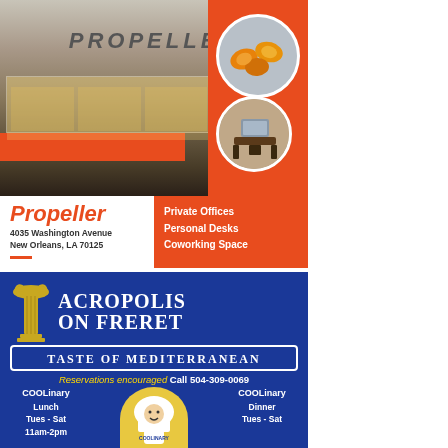[Figure (photo): Propeller coworking space exterior building photo with orange accents, plus two circular inset photos of orange chairs/seating and a desk workspace, on orange background panel]
Propeller
4035 Washington Avenue
New Orleans, LA 70125
Private Offices
Personal Desks
Coworking Space
[Figure (illustration): Acropolis on Freret restaurant advertisement on dark blue background with Greek column icon, title text, COOLinary badges]
ACROPOLIS ON FRERET
TASTE OF MEDITERRANEAN
Reservations encouraged Call 504-309-0069
COOLinary Lunch
Tues - Sat
11am-2pm
COOLinary Dinner
Tues - Sat